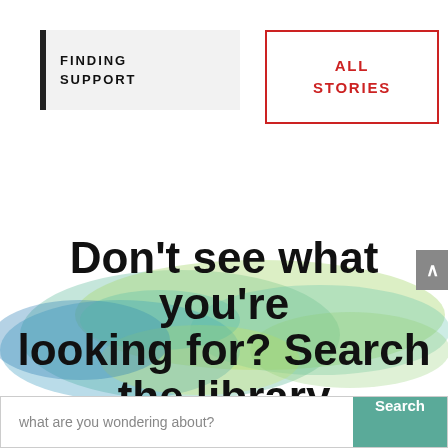FINDING SUPPORT
ALL STORIES
[Figure (illustration): Watercolor abstract splash in blue, green and yellow tones behind the heading text]
Don't see what you're looking for? Search the library
what are you wondering about?